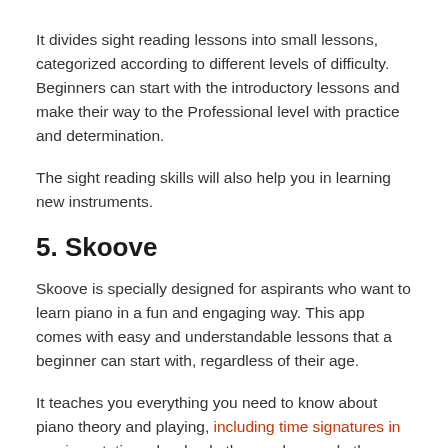It divides sight reading lessons into small lessons, categorized according to different levels of difficulty. Beginners can start with the introductory lessons and make their way to the Professional level with practice and determination.
The sight reading skills will also help you in learning new instruments.
5. Skoove
Skoove is specially designed for aspirants who want to learn piano in a fun and engaging way. This app comes with easy and understandable lessons that a beginner can start with, regardless of their age.
It teaches you everything you need to know about piano theory and playing, including time signatures in music, notation, chords, rhythm, and several other basic and advanced concepts.